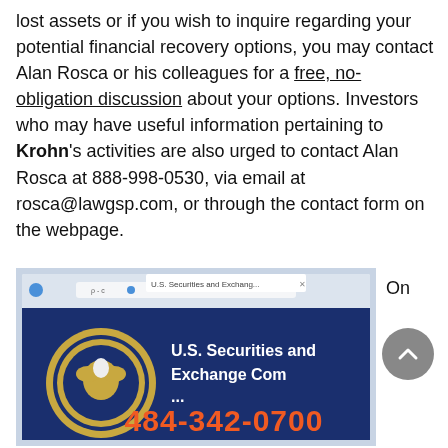lost assets or if you wish to inquire regarding your potential financial recovery options, you may contact Alan Rosca or his colleagues for a free, no-obligation discussion about your options. Investors who may have useful information pertaining to Krohn's activities are also urged to contact Alan Rosca at 888-998-0530, via email at rosca@lawgsp.com, or through the contact form on the webpage.
[Figure (screenshot): Screenshot of the U.S. Securities and Exchange Commission website shown in a browser window with the SEC seal visible.]
On
484-342-0700